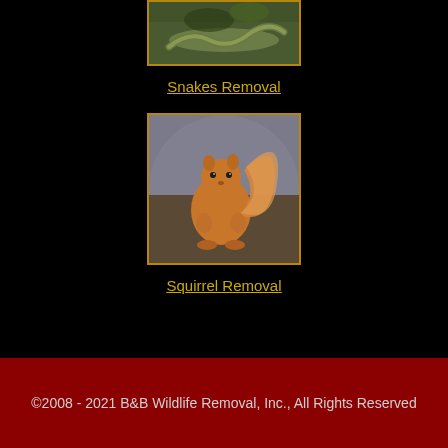[Figure (photo): Photo of a snake among rocks and greenery, shown in a gold-bordered frame]
Snakes Removal
[Figure (photo): Photo of a fluffy red squirrel sitting upright facing the camera, shown in a gold-bordered frame]
Squirrel Removal
©2008 - 2021 B&B Wildlife Removal, Inc., All Rights Reserved